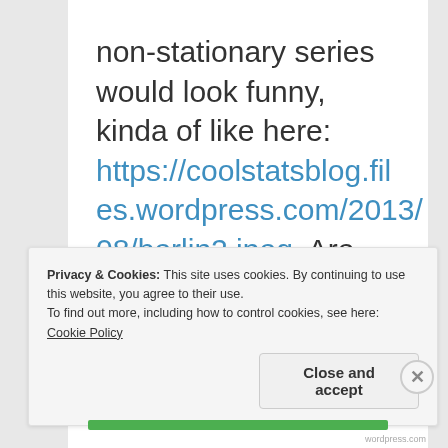non-stationary series would look funny, kinda of like here: https://coolstatsblog.files.wordpress.com/2013/08/berlin2.jpeg. Are you trying to prove that the realizations/values are correlated?
Privacy & Cookies: This site uses cookies. By continuing to use this website, you agree to their use. To find out more, including how to control cookies, see here: Cookie Policy
Close and accept